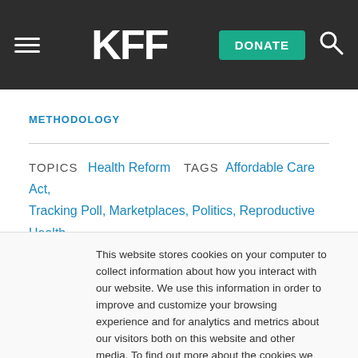KFF | DONATE | [search]
METHODOLOGY
TOPICS  Health Reform  TAGS  Affordable Care Act, Tracking Poll, Marketplaces, Politics, Reproductive Health, Enrollment, Polling
This website stores cookies on your computer to collect information about how you interact with our website. We use this information in order to improve and customize your browsing experience and for analytics and metrics about our visitors both on this website and other media. To find out more about the cookies we use, see our Privacy Policy.
Accept